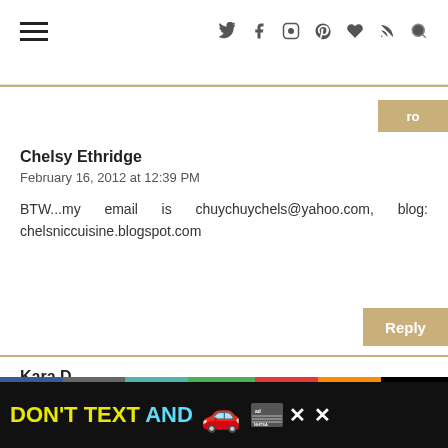Chelsy Ethridge
February 16, 2012 at 12:39 PM
BTW...my email is chuychuychels@yahoo.com, blog: chelsniccuisine.blogspot.com
Kara D
February 16, 2012 at 12:45 PM
I would ask Joy what her favorite meal or dessert treat to eat out is, since she is cooking and baking in all of the time!
[Figure (infographic): Advertisement banner: DON'T TEXT AND [car emoji] with NHTSA logo and close button]